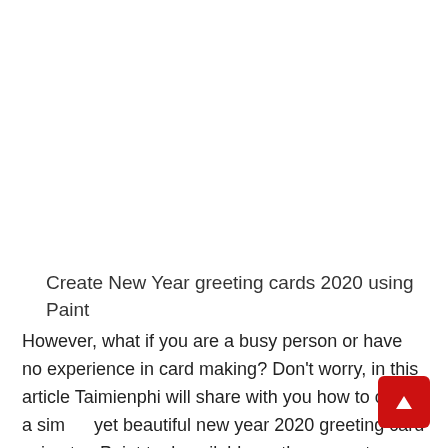Create New Year greeting cards 2020 using Paint
However, what if you are a busy person or have no experience in card making? Don't worry, in this article Taimienphi will share with you how to create a simple yet beautiful new year 2020 greeting card using the Paint tool available on the computer.